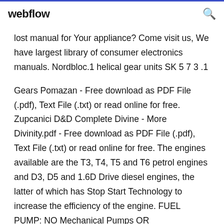webflow
lost manual for Your appliance? Come visit us, We have largest library of consumer electronics manuals. Nordbloc.1 helical gear units SK 5 7 3 .1
Gears Pomazan - Free download as PDF File (.pdf), Text File (.txt) or read online for free. Zupcanici D&D Complete Divine - More Divinity.pdf - Free download as PDF File (.pdf), Text File (.txt) or read online for free. The engines available are the T3, T4, T5 and T6 petrol engines and D3, D5 and 1.6D Drive diesel engines, the latter of which has Stop Start Technology to increase the efficiency of the engine. FUEL PUMP: NO Mechanical Pumps OR